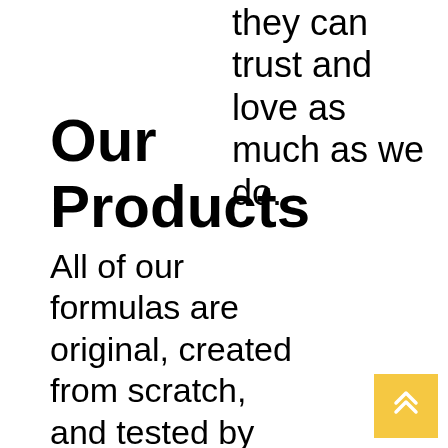they can trust and love as much as we do.
Our Products
All of our formulas are original, created from scratch, and tested by us, on real people and never on animals. We make it our mission
[Figure (other): Yellow scroll-to-top button with double chevron up icon in bottom right corner]